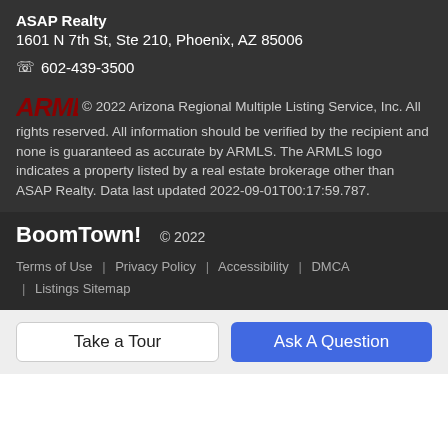ASAP Realty
1601 N 7th St, Ste 210, Phoenix, AZ 85006
☎ 602-439-3500
© 2022 Arizona Regional Multiple Listing Service, Inc. All rights reserved. All information should be verified by the recipient and none is guaranteed as accurate by ARMLS. The ARMLS logo indicates a property listed by a real estate brokerage other than ASAP Realty. Data last updated 2022-09-01T00:17:59.787.
BoomTown! © 2022 Terms of Use | Privacy Policy | Accessibility | DMCA | Listings Sitemap
Take a Tour
Ask A Question